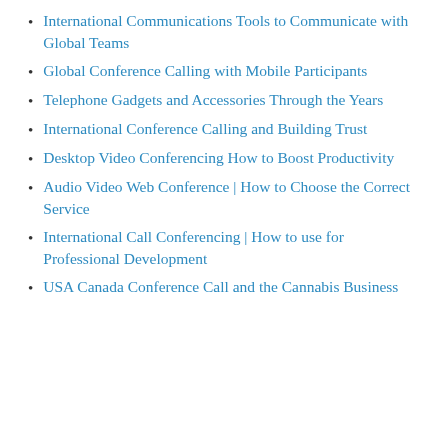International Communications Tools to Communicate with Global Teams
Global Conference Calling with Mobile Participants
Telephone Gadgets and Accessories Through the Years
International Conference Calling and Building Trust
Desktop Video Conferencing How to Boost Productivity
Audio Video Web Conference | How to Choose the Correct Service
International Call Conferencing | How to use for Professional Development
USA Canada Conference Call and the Cannabis Business